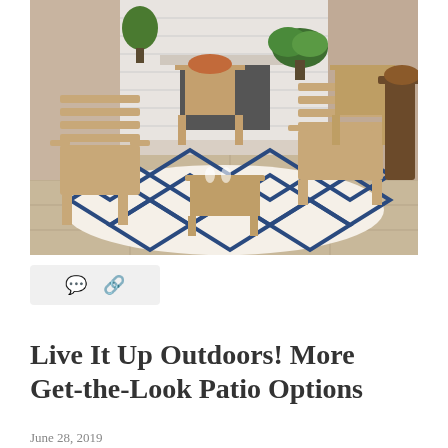[Figure (photo): Outdoor patio furniture set: several teak wood chairs and small tables arranged on a navy and cream geometric patterned area rug, in front of a stone fireplace with plants, in an indoor/outdoor space.]
[Figure (other): Social sharing bar with comment bubble icon and share/link icon on a light gray rounded rectangle background.]
Live It Up Outdoors! More Get-the-Look Patio Options
June 28, 2019